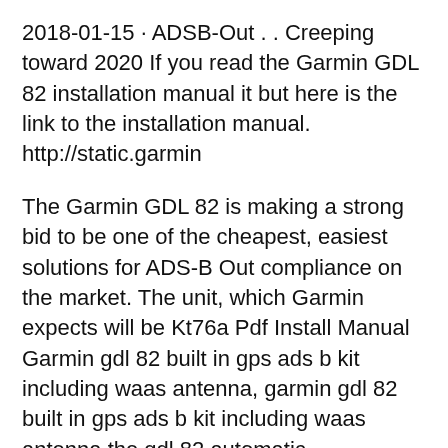2018-01-15 · ADSB-Out . . Creeping toward 2020 If you read the Garmin GDL 82 installation manual it but here is the link to the installation manual. http://static.garmin
The Garmin GDL 82 is making a strong bid to be one of the cheapest, easiest solutions for ADS-B Out compliance on the market. The unit, which Garmin expects will be Kt76a Pdf Install Manual Garmin gdl 82 built in gps ads b kit including waas antenna, garmin gdl 82 built in gps ads b kit including waas antenna the gdl 82 automatic
Stan Cooper's Page on Zenith Aircraft Builders and Flyers. Stan Cooper's Page